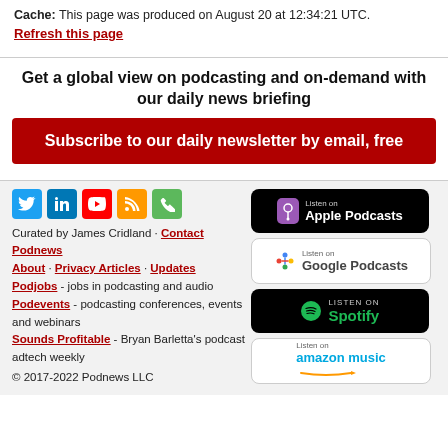Cache: This page was produced on August 20 at 12:34:21 UTC.
Refresh this page
Get a global view on podcasting and on-demand with our daily news briefing
Subscribe to our daily newsletter by email, free
[Figure (logo): Social media icons: Twitter, LinkedIn, YouTube, RSS, Phone/Green]
Curated by James Cridland · Contact Podnews
About · Privacy Articles · Updates
Podjobs - jobs in podcasting and audio
Podevents - podcasting conferences, events and webinars
Sounds Profitable - Bryan Barletta's podcast adtech weekly
© 2017-2022 Podnews LLC
[Figure (logo): Listen on Apple Podcasts badge]
[Figure (logo): Listen on Google Podcasts badge]
[Figure (logo): Listen on Spotify badge]
[Figure (logo): Listen on Amazon Music badge]